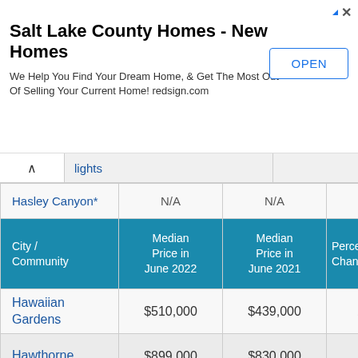[Figure (other): Advertisement banner: Salt Lake County Homes - New Homes. We Help You Find Your Dream Home, & Get The Most Out Of Selling Your Current Home! redsign.com. With an OPEN button.]
| City / Community | Median Price in June 2022 | Median Price in June 2021 | Percent Change |
| --- | --- | --- | --- |
| Hasley Canyon* | N/A | N/A | --- |
| Hawaiian Gardens | $510,000 | $439,000 | 16.2% |
| Hawthorne | $899,000 | $830,000 | 8.3% |
| Hermosa Beach | $2,067,500 | $1,995,000 | 3.6% |
| Hidden Hills | N/A | N/A | --- |
| Huntington |  |  |  |